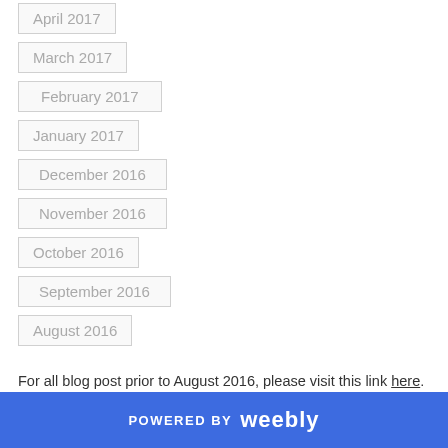April 2017
March 2017
February 2017
January 2017
December 2016
November 2016
October 2016
September 2016
August 2016
For all blog post prior to August 2016, please visit this link here.
Categories
All
POWERED BY weebly